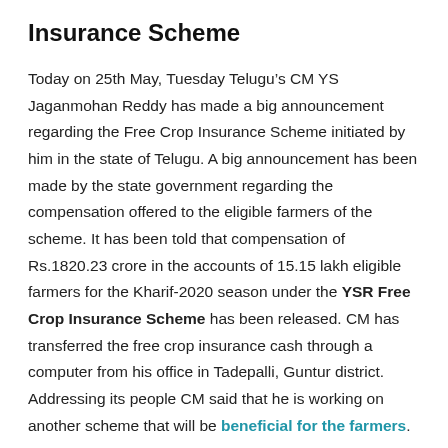Insurance Scheme
Today on 25th May, Tuesday Telugu’s CM YS Jaganmohan Reddy has made a big announcement regarding the Free Crop Insurance Scheme initiated by him in the state of Telugu. A big announcement has been made by the state government regarding the compensation offered to the eligible farmers of the scheme. It has been told that compensation of Rs.1820.23 crore in the accounts of 15.15 lakh eligible farmers for the Kharif-2020 season under the YSR Free Crop Insurance Scheme has been released. CM has transferred the free crop insurance cash through a computer from his office in Tadepalli, Guntur district. Addressing its people CM said that he is working on another scheme that will be beneficial for the farmers.
It was stated that around Rs. 3900 crore have been already deposited in the farmer’s account in the last